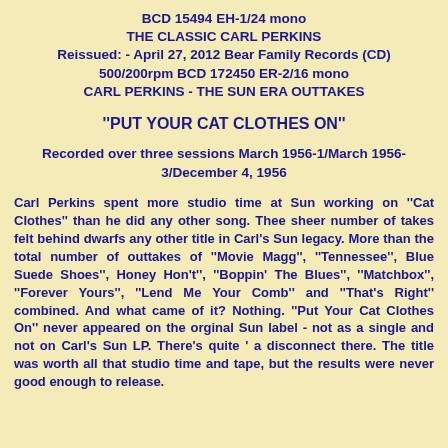BCD 15494 EH-1/24 mono
THE CLASSIC CARL PERKINS
Reissued: - April 27, 2012 Bear Family Records (CD)
500/200rpm BCD 172450 ER-2/16 mono
CARL PERKINS - THE SUN ERA OUTTAKES
"PUT YOUR CAT CLOTHES ON"
Recorded over three sessions March 1956-1/March 1956-3/December 4, 1956
Carl Perkins spent more studio time at Sun working on "Cat Clothes" than he did any other song. Thee sheer number of takes felt behind dwarfs any other title in Carl's Sun legacy. More than the total number of outtakes of "Movie Magg", "Tennessee", Blue Suede Shoes", Honey Hon't", "Boppin' The Blues", "Matchbox", "Forever Yours", "Lend Me Your Comb" and "That's Right" combined. And what came of it? Nothing. "Put Your Cat Clothes On" never appeared on the orginal Sun label - not as a single and not on Carl's Sun LP. There's quite ' a disconnect there. The title was worth all that studio time and tape, but the results were never good enough to release.